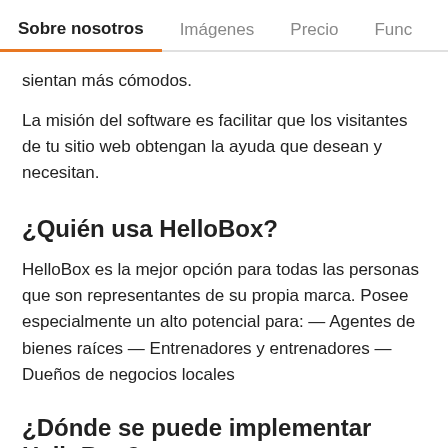Sobre nosotros | Imágenes | Precio | Func
sientan más cómodos.
La misión del software es facilitar que los visitantes de tu sitio web obtengan la ayuda que desean y necesitan.
¿Quién usa HelloBox?
HelloBox es la mejor opción para todas las personas que son representantes de su propia marca. Posee especialmente un alto potencial para: — Agentes de bienes raíces — Entrenadores y entrenadores — Dueños de negocios locales
¿Dónde se puede implementar HelloBox?